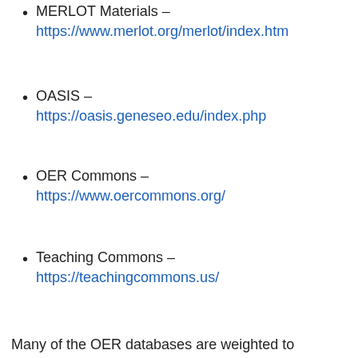MERLOT Materials – https://www.merlot.org/merlot/index.htm
OASIS – https://oasis.geneseo.edu/index.php
OER Commons – https://www.oercommons.org/
Teaching Commons – https://teachingcommons.us/
Many of the OER databases are weighted to overseas resources, so it is wonderful to see that the DigiDex educators have a group bringing home-grown resources to the table. (https://www.oercommons.org/groups/digital-dexterity-educators/5554/)
The DIL team have been wonderful to spend my